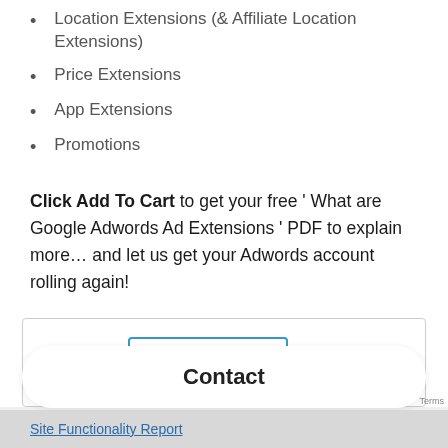Location Extensions (& Affiliate Location Extensions)
Price Extensions
App Extensions
Promotions
Click Add To Cart to get your free ' What are Google Adwords Ad Extensions ' PDF to explain more… and let us get your Adwords account rolling again!
$425.00
Add to cart
Contact
Site Functionality Report